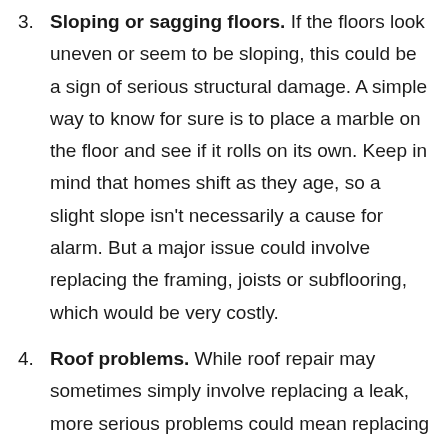3. Sloping or sagging floors. If the floors look uneven or seem to be sloping, this could be a sign of serious structural damage. A simple way to know for sure is to place a marble on the floor and see if it rolls on its own. Keep in mind that homes shift as they age, so a slight slope isn't necessarily a cause for alarm. But a major issue could involve replacing the framing, joists or subflooring, which would be very costly.
4. Roof problems. While roof repair may sometimes simply involve replacing a leak, more serious problems could mean replacing the entire roof. This could also mean costly